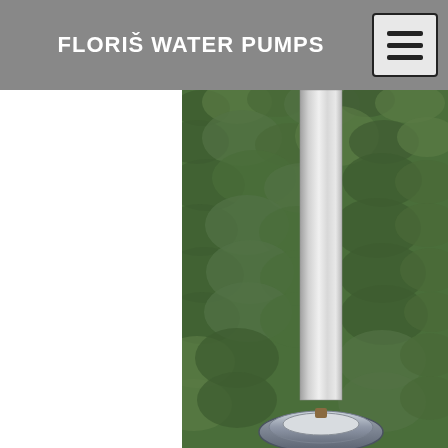FLORIŠ WATER PUMPS
[Figure (photo): Outdoor water pump installation — a vertical grey/white pipe extends from top to bottom in front of a dense green foliage/hedge background, with a cylindrical dark blue/grey pump base unit visible at the bottom of the pipe.]